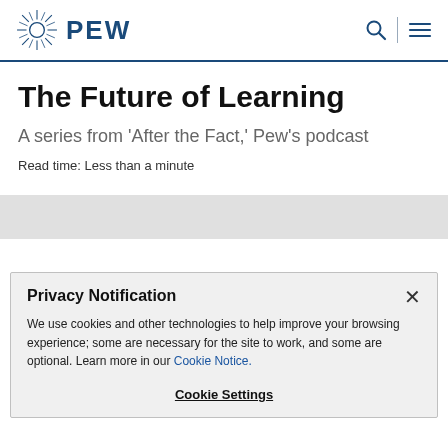PEW
The Future of Learning
A series from 'After the Fact,' Pew's podcast
Read time: Less than a minute
Privacy Notification
We use cookies and other technologies to help improve your browsing experience; some are necessary for the site to work, and some are optional. Learn more in our Cookie Notice.
Cookie Settings